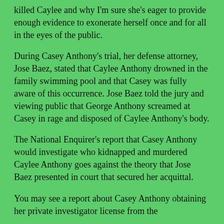killed Caylee and why I'm sure she's eager to provide enough evidence to exonerate herself once and for all in the eyes of the public.
During Casey Anthony's trial, her defense attorney, Jose Baez, stated that Caylee Anthony drowned in the family swimming pool and that Casey was fully aware of this occurrence. Jose Baez told the jury and viewing public that George Anthony screamed at Casey in rage and disposed of Caylee Anthony's body.
The National Enquirer's report that Casey Anthony would investigate who kidnapped and murdered Caylee Anthony goes against the theory that Jose Baez presented in court that secured her acquittal.
You may see a report about Casey Anthony obtaining her private investigator license from the